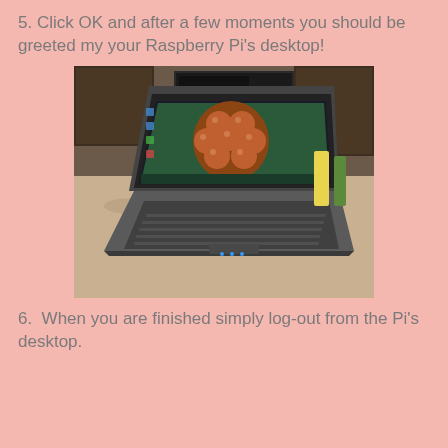5. Click OK and after a few moments you should be greeted my your Raspberry Pi's desktop!
[Figure (photo): A laptop computer sitting on a granite countertop, with its screen displaying the Raspberry Pi desktop featuring a 3D raspberry icon. Kitchen background visible.]
6.  When you are finished simply log-out from the Pi's desktop.